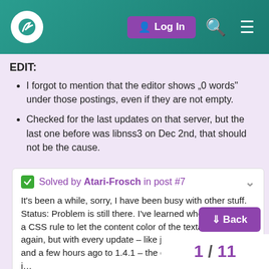Log In
EDIT:
I forgot to mention that the editor shows „0 words" under those postings, even if they are not empty.
Checked for the last updates on that server, but the last one before was libnss3 on Dec 2nd, that should not be the cause.
✓ Solved by Atari-Frosch in post #7
It's been a while, sorry, I have been busy with other stuff. Status: Problem is still there. I've learned where to change a CSS rule to let the content color of the textarea be black again, but with every update – like just these days to 1.4.0 and a few hours ago to 1.4.1 – the changes are undone i…
1 / 11